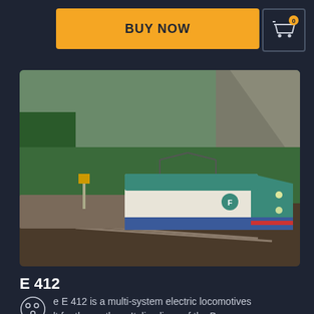BUY NOW
[Figure (screenshot): Shopping cart icon with badge showing 0]
[Figure (photo): 3D rendered image of an E 412 multi-system electric locomotive in teal/white/blue livery on a mountain railway route with green scenery and rocky cliffs in the background]
E 412
e E 412 is a multi-system electric locomotives lt for the northern Italian lines of the Brenner pass. 28 units from